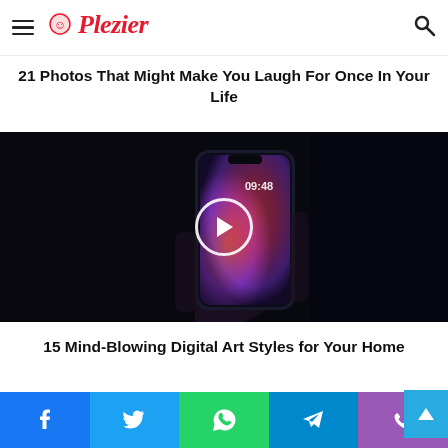Plezier
21 Photos That Might Make You Laugh For Once In Your Life
[Figure (photo): A hand holding a smartphone with a colorful abstract wallpaper on the screen, against a dark background, with a white play button circle overlay]
15 Mind-Blowing Digital Art Styles for Your Home